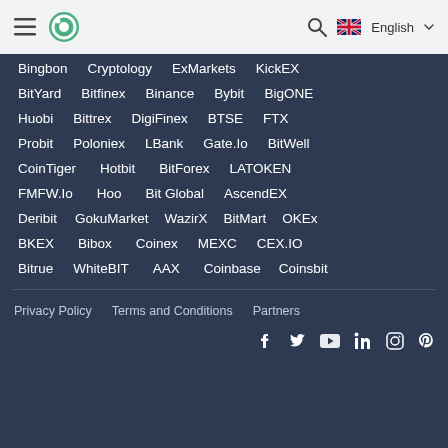CoinGecko — English
Bingbon  Cryptology  ExMarkets  KickEX
BitYard  Bitfinex  Binance  Bybit  BigONE
Huobi  Bittrex  DigiFinex  BTSE  FTX
Probit  Poloniex  LBank  Gate.Io  BitWell
CoinTiger  Hotbit  BitForex  LATOKEN
FMFW.Io  Hoo  Bit Global  AscendEX
Deribit  GokuMarket  WazirX  BitMart  OKEx
BKEX  Bibox  Coinex  MEXC  CEX.IO
Bitrue  WhiteBIT  AAX  Coinbase  Coinsbit
Privacy Policy  Terms and Conditions  Partners
Social icons: Facebook, Twitter, YouTube, LinkedIn, Instagram, Pinterest